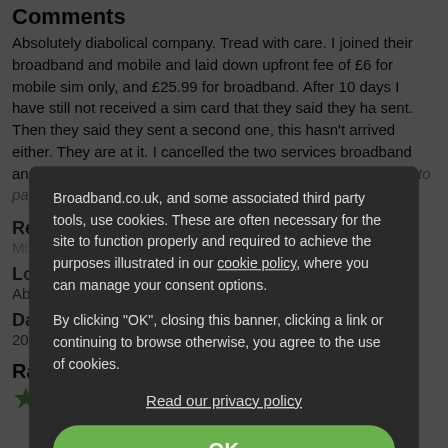Comments
Absolutely diabolical company. Tread with care. I joined their broadband and mobile and laid down upfront fee of £6 for mobile sim only, and £25.99 for broadband. After 10 days I have still not received a sim card that they said they ha sent. Then they said they sent a second one, this hasn't arrived either. They are at it. I cancelled the two services broadband and sim, but they wont release my refund. I have no charges to pay, but they are at it. Watch them, they are dodgy dodgy.
Review by:
Mb...
Location
Ab...
Date
2020...
Ratings
[Figure (other): Cookie consent modal overlay with text: Broadband.co.uk, and some associated third party tools, use cookies. These are often necessary for the site to function properly and required to achieve the purposes illustrated in our cookie policy, where you can manage your consent options. By clicking OK, closing this banner, clicking a link or continuing to browse otherwise, you agree to the use of cookies. Read our privacy policy. OK button.]